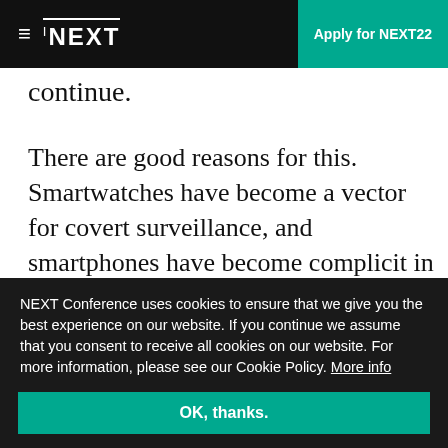≡ NEXT | Apply for NEXT22
continue.
There are good reasons for this. Smartwatches have become a vector for covert surveillance, and smartphones have become complicit in mental health problems. While there's evidence that three or more hours of phone use a day can have a negative effect on you mentally, a few hours each
NEXT Conference uses cookies to ensure that we give you the best experience on our website. If you continue we assume that you consent to receive all cookies on our website. For more information, please see our Cookie Policy. More info
OK, thanks.